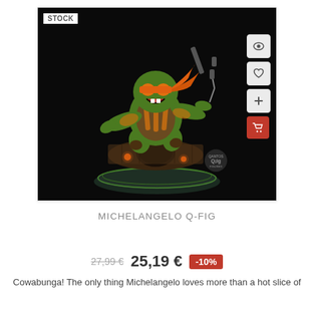[Figure (photo): 3D collectible figure of Michelangelo from Teenage Mutant Ninja Turtles (Q-Fig), wearing orange bandana and kneepads, posed dynamically on a sewer manhole brick base with glowing orange lights and a round opening, with a black background. The product image shows action buttons on the right side (eye/view, heart/wishlist, plus, and red cart button). A 'STOCK' label appears in the top-left corner of the image.]
MICHELANGELO Q-FIG
27,99 € 25,19 € -10%
Cowabunga! The only thing Michelangelo loves more than a hot slice of